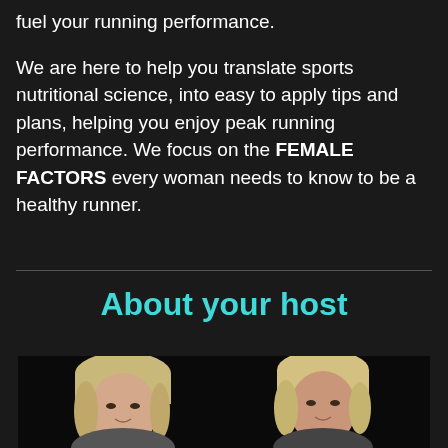fuel your running performance. We are here to help you translate sports nutritional science, into easy to apply tips and plans, helping you enjoy peak running performance. We focus on the FEMALE FACTORS every woman needs to know to be a healthy runner.
About your host
[Figure (photo): Two blonde women photographed from shoulders up against a dark background]